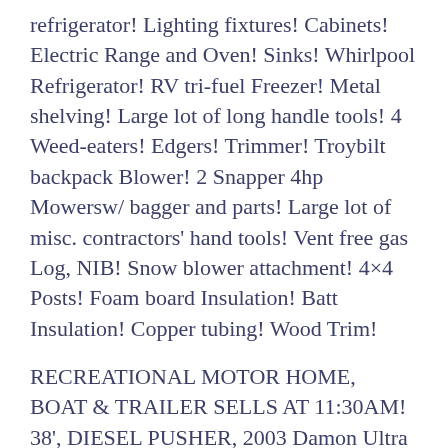refrigerator! Lighting fixtures! Cabinets! Electric Range and Oven! Sinks! Whirlpool Refrigerator! RV tri-fuel Freezer! Metal shelving! Large lot of long handle tools! 4 Weed-eaters! Edgers! Trimmer! Troybilt backpack Blower! 2 Snapper 4hp Mowersw/ bagger and parts! Large lot of misc. contractors' hand tools! Vent free gas Log, NIB! Snow blower attachment! 4×4 Posts! Foam board Insulation! Batt Insulation! Copper tubing! Wood Trim!
RECREATIONAL MOTOR HOME, BOAT & TRAILER SELLS AT 11:30AM! 38', DIESEL PUSHER, 2003 Damon Ultra Sport Motor Home, 350hp,Catepillar engine, double slides, w/ 73500 mi. and dolly! 2008 Boston Whaler, 13' Super Sport(50th Anniversary) w/ 40 hp outboard motor! BIMINI Boat cover!